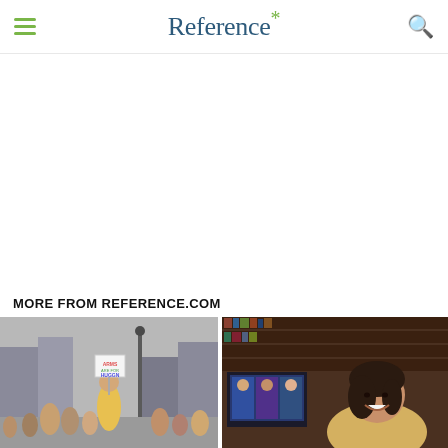Reference*
ADVERTISEMENT
MORE FROM REFERENCE.COM
[Figure (photo): Child holding a sign at a protest/demonstration outdoors]
[Figure (photo): Woman smiling in a library, with a laptop screen visible]